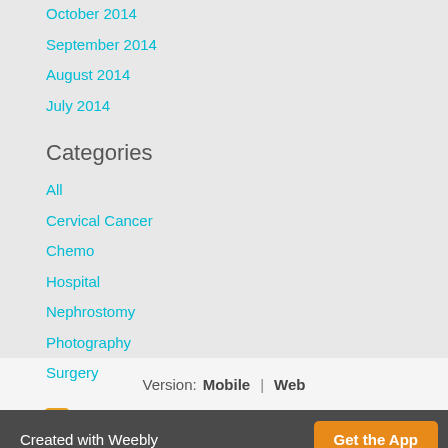October 2014
September 2014
August 2014
July 2014
Categories
All
Cervical Cancer
Chemo
Hospital
Nephrostomy
Photography
Surgery
RSS Feed
Version: Mobile | Web
Created with Weebly  Get the App